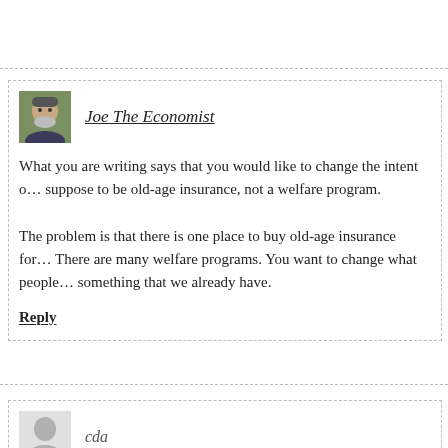[Figure (photo): Avatar photo of Joe The Economist, a man with gray beard]
Joe The Economist
What you are writing says that you would like to change the intent o... suppose to be old-age insurance, not a welfare program.

The problem is that there is one place to buy old-age insurance for... There are many welfare programs. You want to change what people... something that we already have.
Reply
[Figure (illustration): Generic user avatar silhouette placeholder icon in gray]
cda
Yeah, the work until you drop dead plan. I'm sure the younger set a... the progressives hope to make them slaves to the state until the da...
Reply